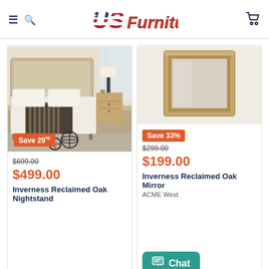[Figure (logo): US Furniture logo with American flag styling on 'US' and red italic bold text 'Furniture']
[Figure (photo): Bedroom scene with upholstered headboard bed, nightstand, lamp, and decorative metal orbs. Save 29% badge overlaid.]
$699.00 (strikethrough)
$499.00
Inverness Reclaimed Oak Nightstand
[Figure (photo): Framed mirror with gold/bronze rectangular frame on white background. Save 33% badge overlaid.]
$299.00 (strikethrough)
$199.00
Inverness Reclaimed Oak Mirror
ACME West
Chat